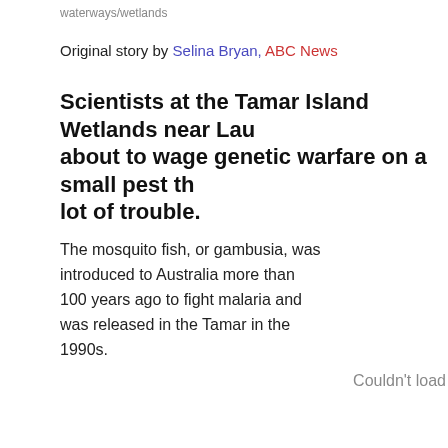waterways/wetlands
Original story by Selina Bryan, ABC News
Scientists at the Tamar Island Wetlands near Lau about to wage genetic warfare on a small pest th lot of trouble.
The mosquito fish, or gambusia, was introduced to Australia more than 100 years ago to fight malaria and was released in the Tamar in the 1990s.
Couldn't load
Because the gambusia thrive in calm shallow water and feed off insect larvae, they seemed to be the ideal mosquito control agent.
But being fast breeders and voracious eaters, the mosquito fish, like mainland, have become the problem.